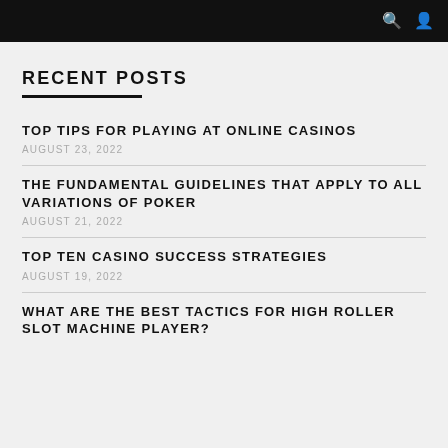navigation bar with search and user icons
RECENT POSTS
TOP TIPS FOR PLAYING AT ONLINE CASINOS
AUGUST 23, 2022
THE FUNDAMENTAL GUIDELINES THAT APPLY TO ALL VARIATIONS OF POKER
AUGUST 21, 2022
TOP TEN CASINO SUCCESS STRATEGIES
AUGUST 19, 2022
WHAT ARE THE BEST TACTICS FOR HIGH ROLLER SLOT MACHINE PLAYER?